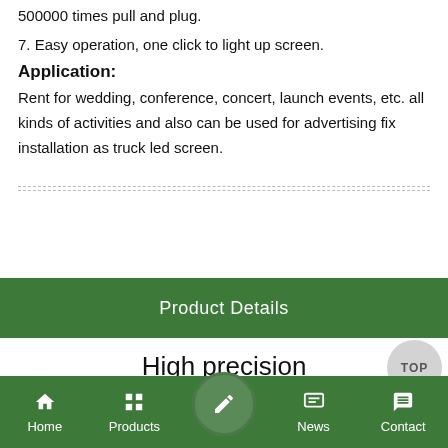500000 times pull and plug. 7. Easy operation, one click to light up screen.
Application:
Rent for wedding, conference, concert, launch events, etc. all kinds of activities and also can be used for advertising fix installation as truck led screen.
[Figure (other): Green rounded CONTACT US button with envelope icon]
Product Details
High precision
Die Casting-aluminum cabinet, ultra-high flatness, whole cabinetflatness≤0.01mm
Home | Products | (center button) | News | Contact